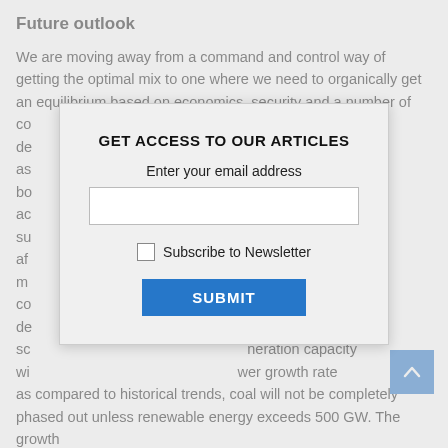Future outlook
We are moving away from a command and control way of getting the optimal mix to one where we need to organically get an equilibrium based on economics, security and a number of considerations. The analysis shows that the demand side is also going to be depending on a lot of assumptions. The analysis builds on a bottom-up scenario for 2030, after accounting for electric vehicles, 24×7 supply, and government directly affecting cooking, space cooling, mobility, etc. The numbers are consistent with the future demand scenarios. The renewables growth scenarios assume generation capacity will grow at a lower growth rate as compared to historical trends, coal will not be completely phased out unless renewable energy exceeds 500 GW. The growth in coal-based generation from now till 2030 is estimated to be in the range of 1-2 per cent per year.
The country has more than 200 GW of coal-based capacity and
[Figure (other): Modal dialog overlay with title 'GET ACCESS TO OUR ARTICLES', email input field, Subscribe to Newsletter checkbox, and SUBMIT button]